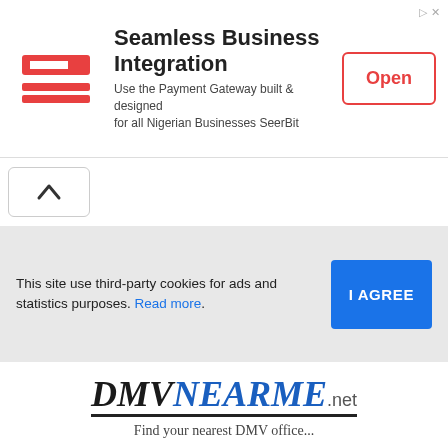[Figure (screenshot): Advertisement banner for SeerBit payment gateway: Seamless Business Integration. Logo on left, title and description in center, orange-bordered Open button on right.]
[Figure (screenshot): Navigation bar with a chevron/up-arrow button on the left side.]
This site use third-party cookies for ads and statistics purposes. Read more.
[Figure (screenshot): I AGREE button in blue for cookie consent.]
[Figure (logo): DMVNEARMEnet logo with DMV in dark serif italic, NEARME in blue serif italic, and .net in smaller gray sans-serif, with a bottom border underline.]
Find your nearest DMV office...
[Figure (screenshot): Blue rounded square menu/hamburger icon with three white horizontal lines.]